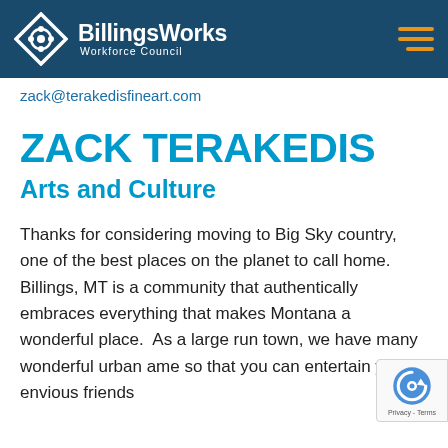BillingsWorks Workforce Council
zack@terakedisfineart.com
ZACK TERAKEDIS
Arts and Culture
Thanks for considering moving to Big Sky country, one of the best places on the planet to call home.  Billings, MT is a community that authentically embraces everything that makes Montana a wonderful place.  As a large run town, we have many wonderful urban ame so that you can entertain your envious friends